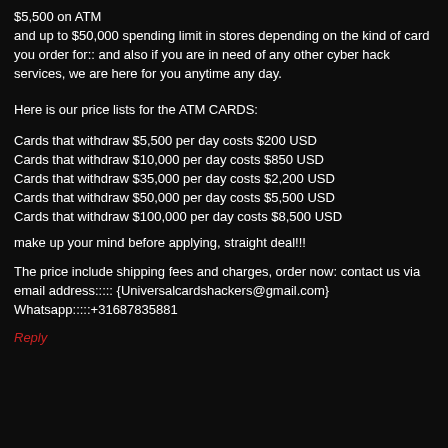$5,500 on ATM and up to $50,000 spending limit in stores depending on the kind of card you order for:: and also if you are in need of any other cyber hack services, we are here for you anytime any day.
Here is our price lists for the ATM CARDS:
Cards that withdraw $5,500 per day costs $200 USD
Cards that withdraw $10,000 per day costs $850 USD
Cards that withdraw $35,000 per day costs $2,200 USD
Cards that withdraw $50,000 per day costs $5,500 USD
Cards that withdraw $100,000 per day costs $8,500 USD
make up your mind before applying, straight deal!!!
The price include shipping fees and charges, order now: contact us via email address::::: {Universalcardshackers@gmail.com} Whatsapp:::::+31687835881
Reply